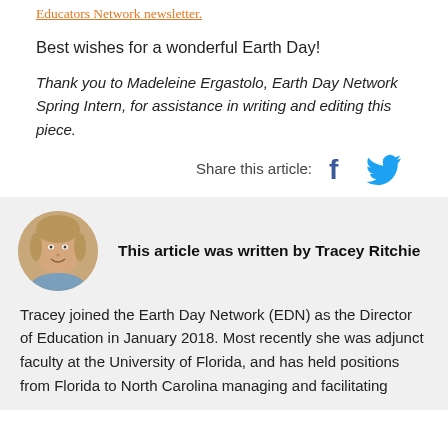Educators Network newsletter.
Best wishes for a wonderful Earth Day!
Thank you to Madeleine Ergastolo, Earth Day Network Spring Intern, for assistance in writing and editing this piece.
Share this article:
[Figure (illustration): Facebook and Twitter social share icons]
[Figure (photo): Circular profile photo of Tracey Ritchie, a woman with blonde hair smiling]
This article was written by Tracey Ritchie
Tracey joined the Earth Day Network (EDN) as the Director of Education in January 2018. Most recently she was adjunct faculty at the University of Florida, and has held positions from Florida to North Carolina managing and facilitating